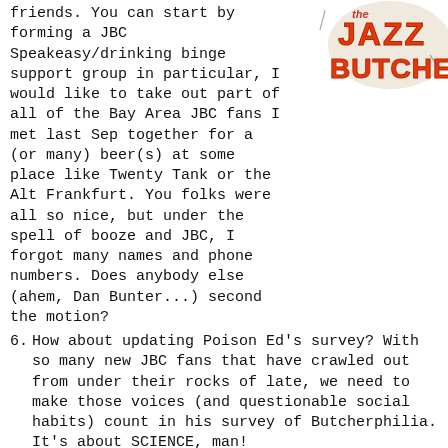[Figure (logo): The Jazz Butcher logo in orange and red text with lightning bolt styling]
friends. You can start by forming a JBC Speakeasy/drinking binge support group in particular, I would like to take out part of all of the Bay Area JBC fans I met last Sep together for a (or many) beer(s) at some place like Twenty Tank or the Alt Frankfurt. You folks were all so nice, but under the spell of booze and JBC, I forgot many names and phone numbers. Does anybody else (ahem, Dan Bunter...) second the motion?
6. How about updating Poison Ed's survey? With so many new JBC fans that have crawled out from under their rocks of late, we need to make those voices (and questionable social habits) count in his survey of Butcherphilia. It's about SCIENCE, man!
7. Get Pat back here. Not just as a musician, but as a tourist/friend/cultural exchange student. How many dollars and hours have you wasted on deadbeat friends and unwanted relatives who drop in on you for extended periods during their vacation? Now, you can kick those losers off the futon and sponsor Pat (and Kathie? Little Jake?) as cultural ambassadors to our continent! Give them a place to stay, breweries to visit, and a hosted bar tab as they travel the states (& provinces) from sponsor to sponsor across the USA (and